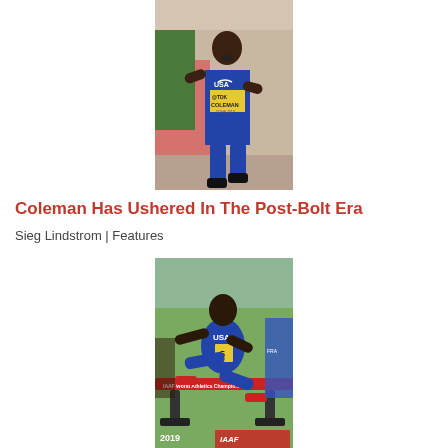[Figure (photo): Christian Coleman wearing USA bib with 'COLEMAN' racing at 2019 IAAF World Championships in Doha, mid-sprint with mouth open, competitor in green behind]
Coleman Has Ushered In The Post-Bolt Era
Sieg Lindstrom | Features
[Figure (photo): Athlete in USA uniform wearing bib number 5 clearing a red hurdle at 2019 IAAF World Athletics Championships, another athlete in blue uniform on the right]